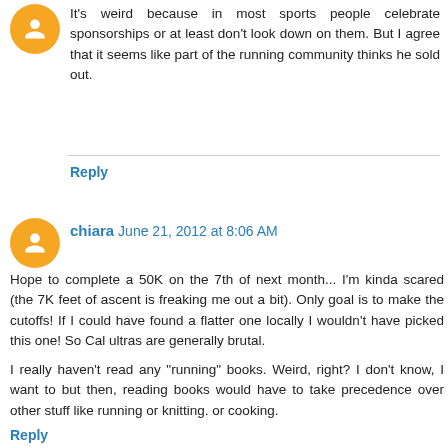It's weird because in most sports people celebrate sponsorships or at least don't look down on them. But I agree that it seems like part of the running community thinks he sold out.
Reply
chiara June 21, 2012 at 8:06 AM
Hope to complete a 50K on the 7th of next month... I'm kinda scared (the 7K feet of ascent is freaking me out a bit). Only goal is to make the cutoffs! If I could have found a flatter one locally I wouldn't have picked this one! So Cal ultras are generally brutal.
I really haven't read any "running" books. Weird, right? I don't know, I want to but then, reading books would have to take precedence over other stuff like running or knitting. or cooking.
Reply